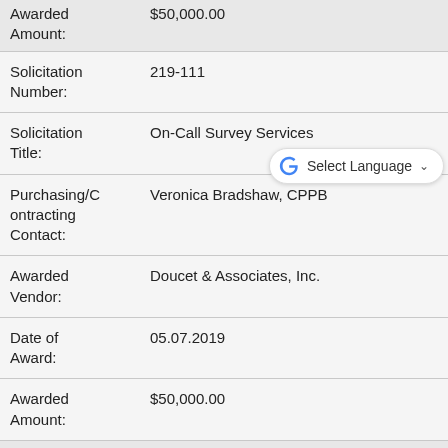| Awarded Amount: | $50,000.00 |
| Solicitation Number: | 219-111 |
| Solicitation Title: | On-Call Survey Services |
| Purchasing/Contracting Contact: | Veronica Bradshaw, CPPB |
| Awarded Vendor: | Doucet & Associates, Inc. |
| Date of Award: | 05.07.2019 |
| Awarded Amount: | $50,000.00 |
| Solicitation Number: | 219-111 |
| Solicitation |  |